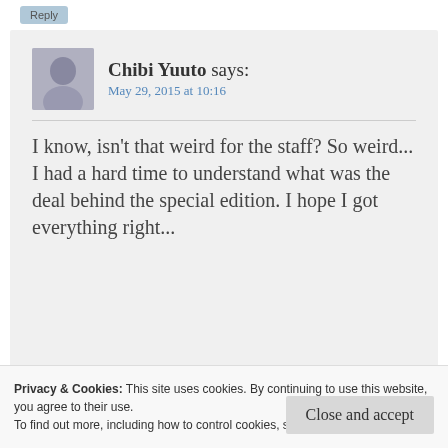[Figure (other): Reply button, light blue/grey rounded rectangle]
Chibi Yuuto says:
May 29, 2015 at 10:16
I know, isn't that weird for the staff? So weird...
I had a hard time to understand what was the deal behind the special edition. I hope I got everything right...
announce a brand new special edition
Privacy & Cookies: This site uses cookies. By continuing to use this website, you agree to their use.
To find out more, including how to control cookies, see here: Cookie Policy
Close and accept